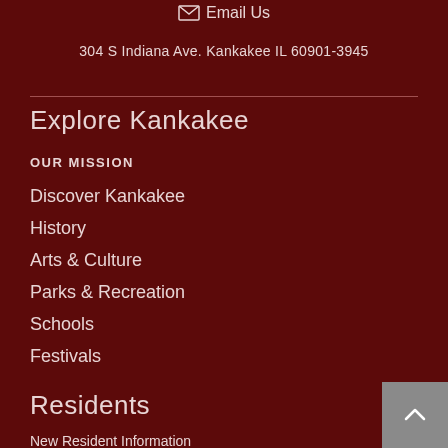Email Us
304 S Indiana Ave. Kankakee IL 60901-3945
Explore Kankakee
OUR MISSION
Discover Kankakee
History
Arts & Culture
Parks & Recreation
Schools
Festivals
Residents
New Resident Information